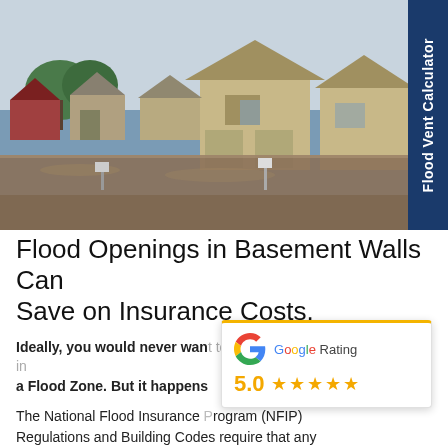[Figure (photo): Flooded residential neighborhood showing houses partially submerged in brown floodwater, with mailboxes visible at water level]
Flood Openings in Basement Walls Can Save on Insurance Costs.
Ideally, you would never want to live in a Flood Zone. But it happens
[Figure (other): Google Rating card showing 5.0 stars with five gold stars]
The National Flood Insurance Program (NFIP) Regulations and Building Codes require that any residential building constructed in Flood Zone Type A